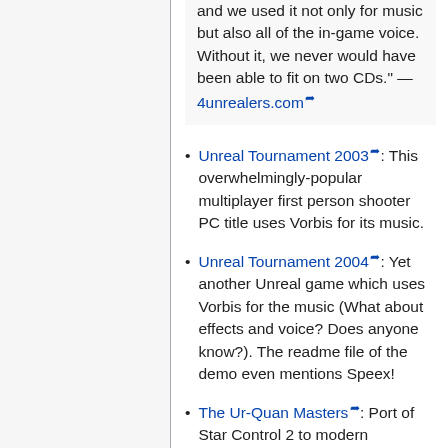and we used it not only for music but also all of the in-game voice. Without it, we never would have been able to fit on two CDs." — 4unrealers.com
Unreal Tournament 2003: This overwhelmingly-popular multiplayer first person shooter PC title uses Vorbis for its music.
Unreal Tournament 2004: Yet another Unreal game which uses Vorbis for the music (What about effects and voice? Does anyone know?). The readme file of the demo even mentions Speex!
The Ur-Quan Masters: Port of Star Control 2 to modern computers. Toys for Bob released the source of this